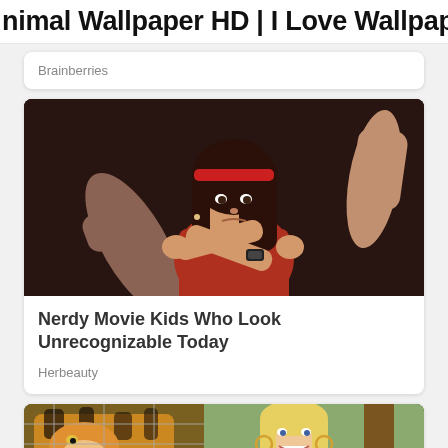nimal Wallpaper HD | I Love Wallpap
Brainberries
[Figure (photo): Young girl in red top with a red headband making a martial arts pose with crossed arms, dark background]
Nerdy Movie Kids Who Look Unrecognizable Today
Herbeauty
[Figure (photo): Partial image of a tiger and a smiling blonde woman, bottom of page]